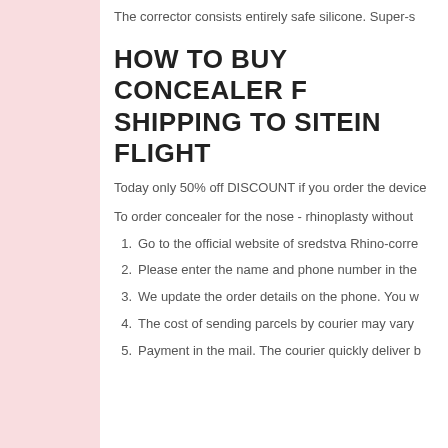The corrector consists entirely safe silicone. Super-s
HOW TO BUY CONCEALER F… SHIPPING TO SITEIN FLIGHT…
Today only 50% off DISCOUNT if you order the device
To order concealer for the nose - rhinoplasty without
1. Go to the official website of sredstva Rhino-corre
2. Please enter the name and phone number in the
3. We update the order details on the phone. You w
4. The cost of sending parcels by courier may vary
5. Payment in the mail. The courier quickly deliver b